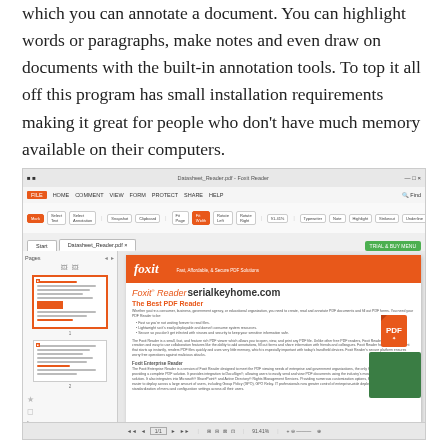which you can annotate a document. You can highlight words or paragraphs, make notes and even draw on documents with the built-in annotation tools. To top it all off this program has small installation requirements making it great for people who don't have much memory available on their computers.
[Figure (screenshot): Screenshot of Foxit Reader PDF application showing the toolbar ribbon interface with HOME, COMMENT, VIEW, FORM, PROTECT, SHARE, HELP menus, a left panel with page thumbnails, and the main document area showing a Foxit Reader datasheet PDF with the foxit orange logo, product title 'Foxit Reader' overlaid with 'serialkeyhome.com' watermark, 'The Best PDF Reader' heading, and a green box in the lower right corner.]